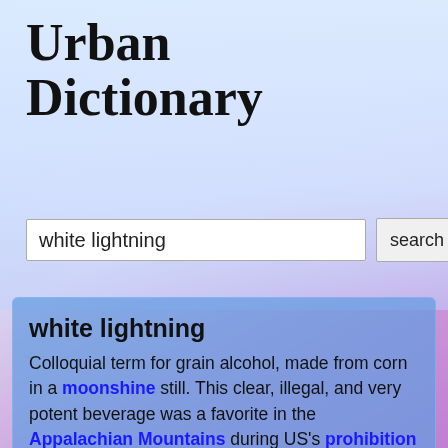Urban Dictionary
white lightning
white lightning
Colloquial term for grain alcohol, made from corn in a moonshine still. This clear, illegal, and very potent beverage was a favorite in the Appalachian Mountains during US's prohibition years.
[Figure (photo): Photo of white lightning bolt on a black background]